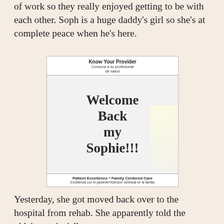of work so they really enjoyed getting to be with each other. Soph is a huge daddy's girl so she's at complete peace when he's here.
[Figure (photo): Photo of a hospital whiteboard/sign that reads 'Know Your Provider / Conozca a su profesional de salud' at the top and 'Welcome Back my Sophie!!!' handwritten in the middle, with 'Patient Excellence * Family Centered Care / Excelencia con el paciente*Atención centrada en la familia' at the bottom.]
Yesterday, she got moved back over to the hospital from rehab. She apparently told the phlebotomist 'all